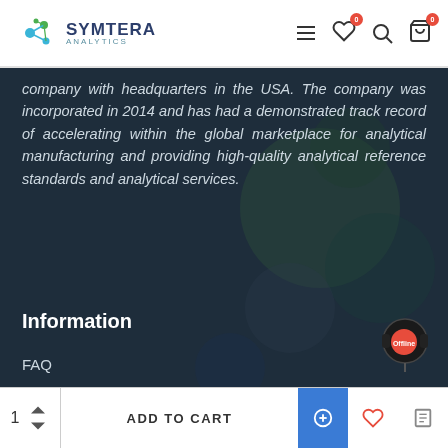SYMTERA ANALYTICS
company with headquarters in the USA. The company was incorporated in 2014 and has had a demonstrated track record of accelerating within the global marketplace for analytical manufacturing and providing high-quality analytical reference standards and analytical services.
Information
FAQ
Blog
1  ADD TO CART